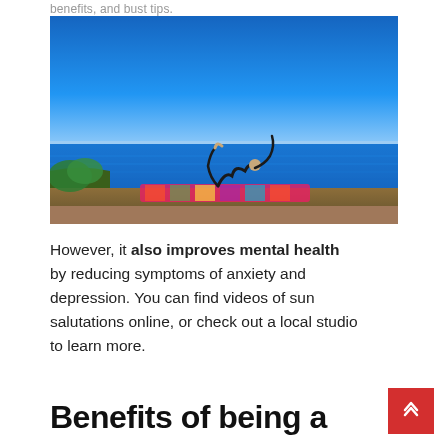benefits, and bust tips.
[Figure (photo): A woman performing a yoga pose (bow pose or similar backbend) on a colorful mat outdoors on a cliff edge, with a blue ocean and clear sky in the background.]
However, it also improves mental health by reducing symptoms of anxiety and depression. You can find videos of sun salutations online, or check out a local studio to learn more.
Benefits of being a